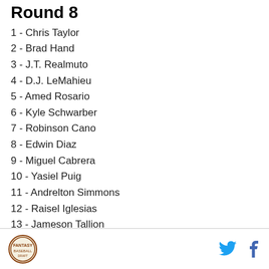Round 8
1 - Chris Taylor
2 - Brad Hand
3 - J.T. Realmuto
4 - D.J. LeMahieu
5 - Amed Rosario
6 - Kyle Schwarber
7 - Robinson Cano
8 - Edwin Diaz
9 - Miguel Cabrera
10 - Yasiel Puig
11 - Andrelton Simmons
12 - Raisel Iglesias
13 - Jameson Tallion
Logo, Twitter, Facebook icons